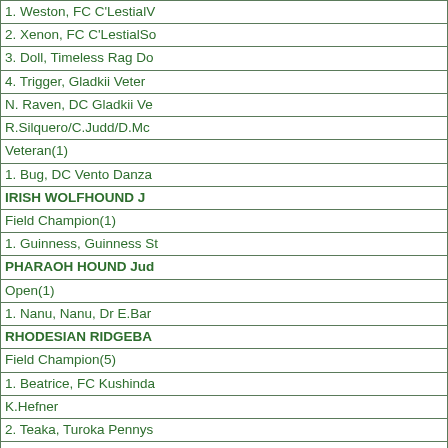| 1. Weston, FC C'LestialV |
| 2. Xenon, FC C'LestialSo |
| 3. Doll, Timeless Rag Do |
| 4. Trigger, Gladkii Veter |
| N. Raven, DC Gladkii Ve |
| R.Silquero/C.Judd/D.Mc |
| Veteran(1) |
| 1. Bug, DC Vento Danza |
| IRISH WOLFHOUND J |
| Field Champion(1) |
| 1. Guinness, Guinness St |
| PHARAOH HOUND Jud |
| Open(1) |
| 1. Nanu, Nanu, Dr E.Bar |
| RHODESIAN RIDGEBA |
| Field Champion(5) |
| 1. Beatrice, FC Kushinda |
| K.Hefner |
| 2. Teaka, Turoka Pennys |
| 3. Trixie, FC Kushinda's |
| K.Hefner/P.Weiland |
| 4. Berry, Turoka Penny's |
| N. Dove, Turoka T'Daz |